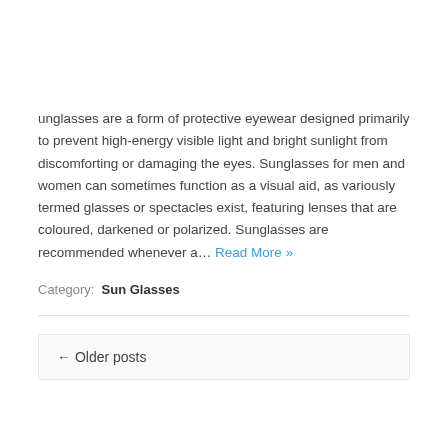unglasses are a form of protective eyewear designed primarily to prevent high-energy visible light and bright sunlight from discomforting or damaging the eyes. Sunglasses for men and women can sometimes function as a visual aid, as variously termed glasses or spectacles exist, featuring lenses that are coloured, darkened or polarized. Sunglasses are recommended whenever a… Read More »
Category: Sun Glasses
← Older posts